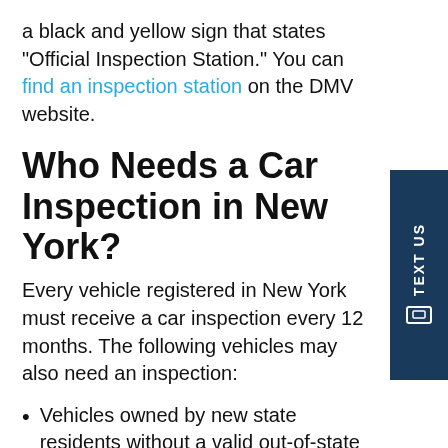a black and yellow sign that states “Official Inspection Station.” You can find an inspection station on the DMV website.
Who Needs a Car Inspection in New York?
Every vehicle registered in New York must receive a car inspection every 12 months. The following vehicles may also need an inspection:
Vehicles owned by new state residents without a valid out-of-state inspection sticker
Cars purchased from a private sale (not a dealership)